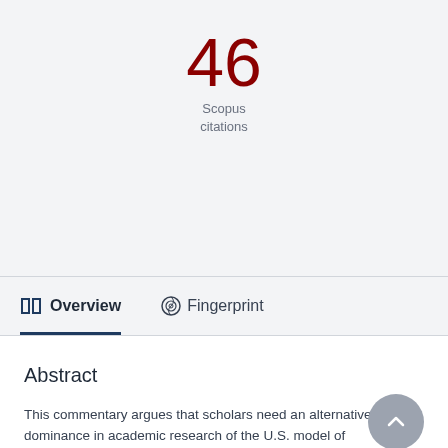46
Scopus
citations
Overview
Fingerprint
Abstract
This commentary argues that scholars need an alternative to the dominance in academic research of the U.S. model of entrepreneurship to reflect better the variety and diversity of